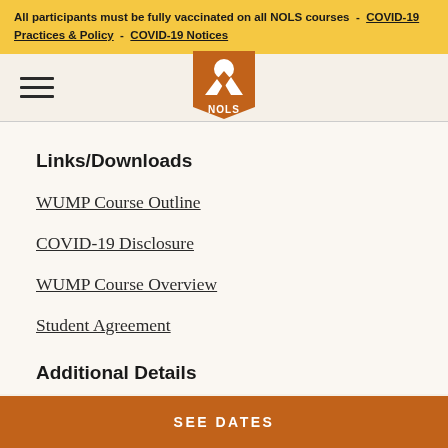All participants must be fully vaccinated on all NOLS courses  -  COVID-19 Practices & Policy  -  COVID-19 Notices
[Figure (logo): NOLS logo — orange pennant shape with white mountain and moon icon, NOLS text below]
Links/Downloads
WUMP Course Outline
COVID-19 Disclosure
WUMP Course Overview
Student Agreement
Additional Details
SEE DATES